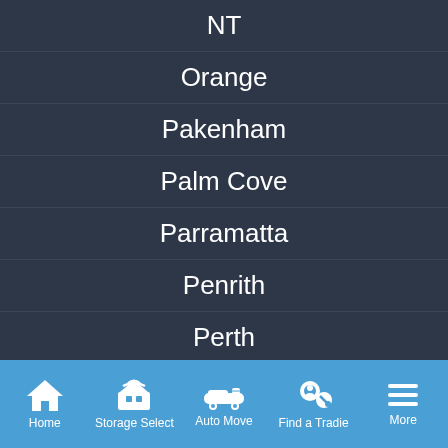NT
Orange
Pakenham
Palm Cove
Parramatta
Penrith
Perth
Phillip Island
Port Adelaide
Port Douglas
Port Hedland
Home | Storage Select | Auto Move | Find a Tradie | More